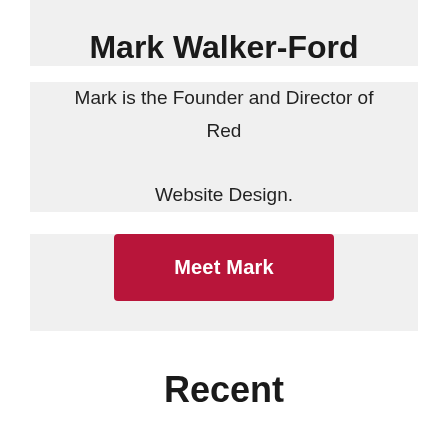Mark Walker-Ford
Mark is the Founder and Director of Red Website Design.
[Figure (other): Red button labeled 'Meet Mark']
Recent
Winning Customer Love: How Small